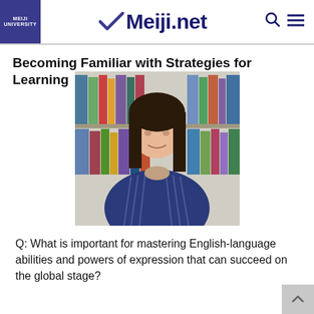MEIJI UNIVERSITY | Meiji.net
Becoming Familiar with Strategies for Learning
[Figure (photo): Portrait photo of a woman with dark hair in a blue striped blazer, seated in front of a bookshelf filled with books.]
Q: What is important for mastering English-language abilities and powers of expression that can succeed on the global stage?